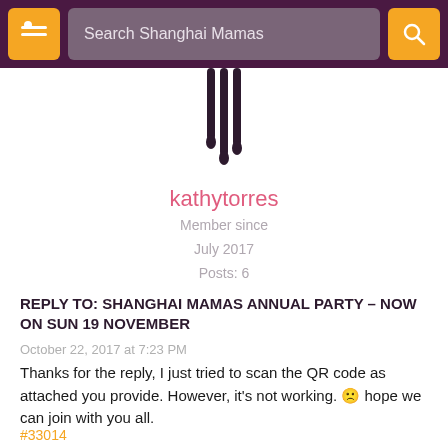Search Shanghai Mamas
[Figure (logo): Shanghai Mamas logo drip design in dark purple]
kathytorres
Member since
July 2017
Posts: 6
REPLY TO: SHANGHAI MAMAS ANNUAL PARTY – NOW ON SUN 19 NOVEMBER
October 22, 2017 at 7:23 PM
Thanks for the reply, I just tried to scan the QR code as attached you provide. However, it's not working. 🙁 hope we can join with you all.
#33014